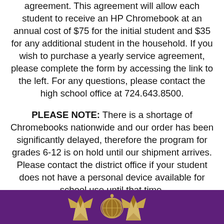agreement. This agreement will allow each student to receive an HP Chromebook at an annual cost of $75 for the initial student and $35 for any additional student in the household. If you wish to purchase a yearly service agreement, please complete the form by accessing the link to the left. For any questions, please contact the high school office at 724.643.8500.
PLEASE NOTE: There is a shortage of Chromebooks nationwide and our order has been significantly delayed, therefore the program for grades 6-12 is on hold until our shipment arrives. Please contact the district office if your student does not have a personal device available for school use until that time.
[Figure (illustration): Purple footer bar with school mascot logo (eagle/bird figures and globe) in gold/tan colors]